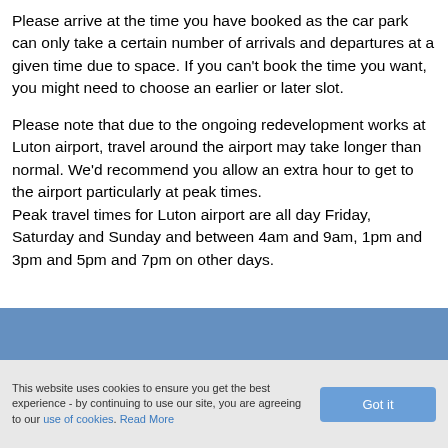Please arrive at the time you have booked as the car park can only take a certain number of arrivals and departures at a given time due to space. If you can't book the time you want, you might need to choose an earlier or later slot.
Please note that due to the ongoing redevelopment works at Luton airport, travel around the airport may take longer than normal. We'd recommend you allow an extra hour to get to the airport particularly at peak times. Peak travel times for Luton airport are all day Friday, Saturday and Sunday and between 4am and 9am, 1pm and 3pm and 5pm and 7pm on other days.
This website uses cookies to ensure you get the best experience - by continuing to use our site, you are agreeing to our use of cookies. Read More